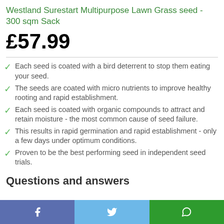Westland Surestart Multipurpose Lawn Grass seed - 300 sqm Sack
£57.99
Each seed is coated with a bird deterrent to stop them eating your seed.
The seeds are coated with micro nutrients to improve healthy rooting and rapid establishment.
Each seed is coated with organic compounds to attract and retain moisture - the most common cause of seed failure.
This results in rapid germination and rapid establishment - only a few days under optimum conditions.
Proven to be the best performing seed in independent seed trials.
Questions and answers